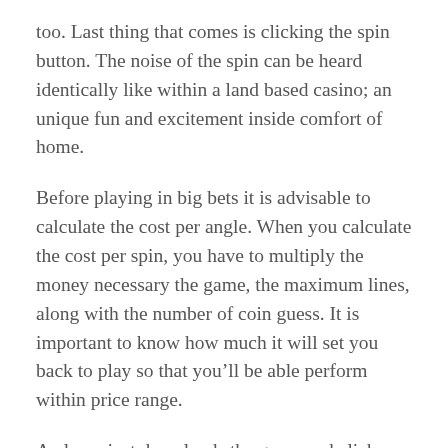too. Last thing that comes is clicking the spin button. The noise of the spin can be heard identically like within a land based casino; an unique fun and excitement inside comfort of home.
Before playing in big bets it is advisable to calculate the cost per angle. When you calculate the cost per spin, you have to multiply the money necessary the game, the maximum lines, along with the number of coin guess. It is important to know how much it will set you back to play so that you’ll be able perform within price range.
A player just downloads the game and clicks the ‘tournament’ button globe lobby from the online internet casino. There are instructions to follow along